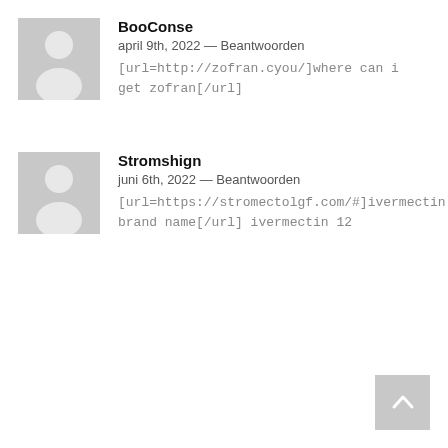[Figure (illustration): Generic grey user avatar placeholder icon for BooConse]
BooConse
april 9th, 2022 — Beantwoorden
[url=http://zofran.cyou/]where can i get zofran[/url]
[Figure (illustration): Generic grey user avatar placeholder icon for Stromshign]
Stromshign
juni 6th, 2022 — Beantwoorden
[url=https://stromectolgf.com/#]ivermectin brand name[/url] ivermectin 12